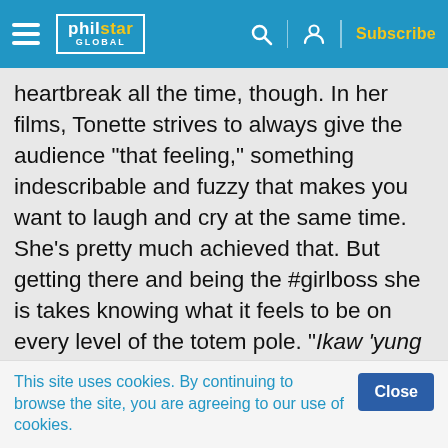philstar GLOBAL — Subscribe
heartbreak all the time, though. In her films, Tonette strives to always give the audience “that feeling,” something indescribable and fuzzy that makes you want to laugh and cry at the same time. She’s pretty much achieved that. But getting there and being the #girlboss she is takes knowing what it feels to be on every level of the totem pole. “Ikaw ‘yung captain ng ship, pero alam mo [dapat] ‘yung pakiramdam na hindi ikaw ‘yung captain.” It takes starting out from the bottom...
This site uses cookies. By continuing to browse the site, you are agreeing to our use of cookies.